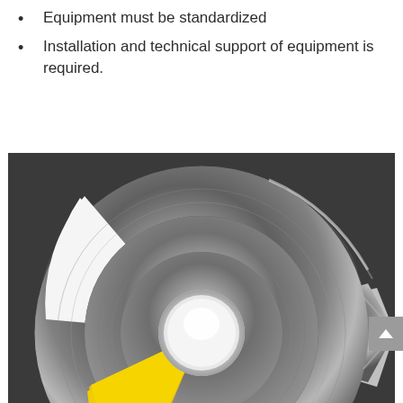Equipment must be standardized
Installation and technical support of equipment is required.
[Figure (photo): Industrial circular turbine or pump impeller component made of polished metal, with a yellow section visible at the bottom-left. The component has a concentric ring design with a hollow center, shot in a dramatic close-up with bokeh background.]